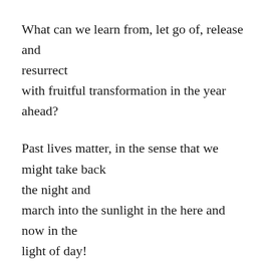What can we learn from, let go of, release and resurrect
with fruitful transformation in the year ahead?
Past lives matter, in the sense that we might take back the night and
march into the sunlight in the here and now in the light of day!
That doesn't happen with violent insurgence, and warring tribes on social media
Nor does it happen by looking back on yourself by...